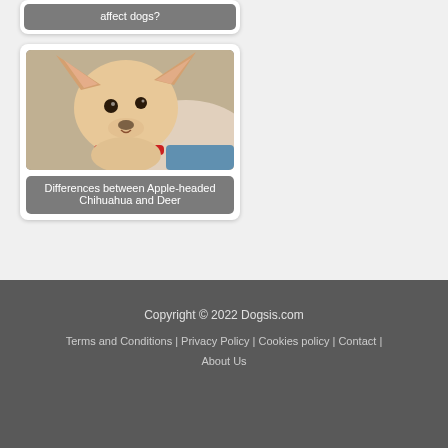affect dogs?
[Figure (photo): Close-up photo of a Chihuahua dog with large ears, light tan/cream coat, wearing a red collar, looking upward against a blurred background]
Differences between Apple-headed Chihuahua and Deer
Copyright © 2022 Dogsis.com
Terms and Conditions | Privacy Policy | Cookies policy | Contact | About Us